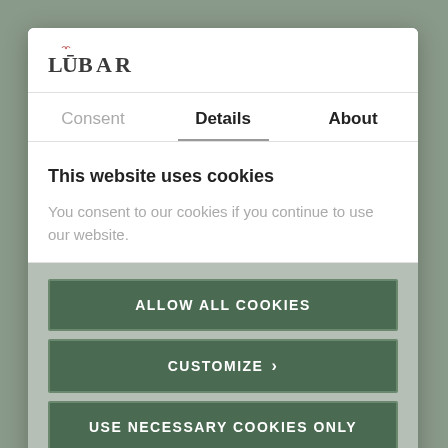[Figure (logo): LuBar logo with stylized text and small decorative element above]
Consent | Details | About
This website uses cookies
You consent to our cookies if you continue to use our website.
ALLOW ALL COOKIES
CUSTOMIZE ›
USE NECESSARY COOKIES ONLY
Powered by Cookiebot by Usercentrics